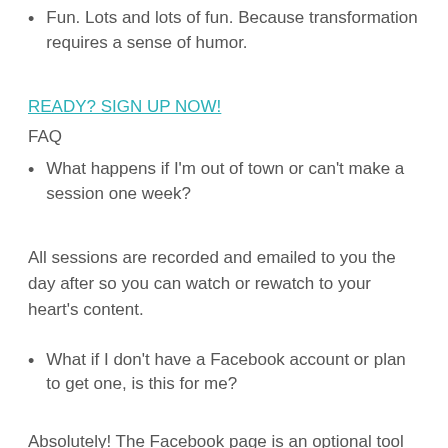Fun. Lots and lots of fun. Because transformation requires a sense of humor.
READY? SIGN UP NOW!
FAQ
What happens if I'm out of town or can't make a session one week?
All sessions are recorded and emailed to you the day after so you can watch or rewatch to your heart's content.
What if I don't have a Facebook account or plan to get one, is this for me?
Absolutely! The Facebook page is an optional tool and